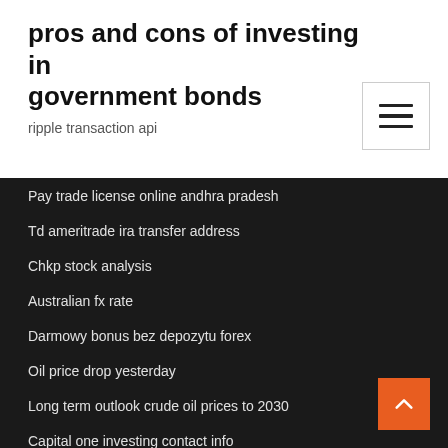pros and cons of investing in government bonds
ripple transaction api
Pay trade license online andhra pradesh
Td ameritrade ira transfer address
Chkp stock analysis
Australian fx rate
Darmowy bonus bez depozytu forex
Oil price drop yesterday
Long term outlook crude oil prices to 2030
Capital one investing contact info